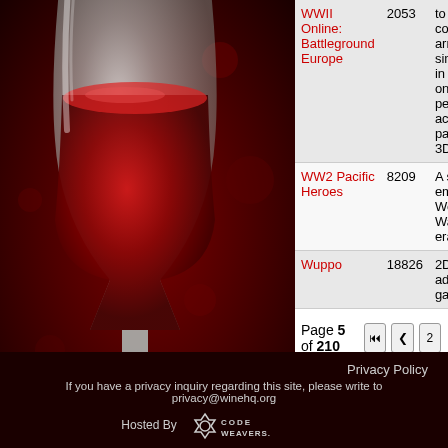| Game | AppID | Description |
| --- | --- | --- |
| WWII Online: Battleground Europe | 2053 | to play combining arms simulation in an online, persistent, action-packed 3D world. |
| WW2 Pacific Heroes | 8209 | A shoot' em up of World War 2 era. |
| Wuppo | 18826 | 2D Indie adventure gam... |
Page 5 of 210  |<<  <  2  3  4  5  6  7  8  >  >>|
Privacy Policy
If you have a privacy inquiry regarding this site, please write to privacy@winehq.org
Hosted By CODE WEAVERS.